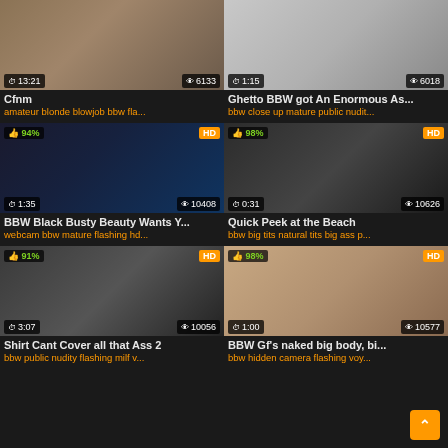[Figure (screenshot): Video thumbnail for Cfnm, showing time 13:21 and 6133 views]
Cfnm
amateur blonde blowjob bbw fla...
[Figure (screenshot): Video thumbnail for Ghetto BBW got An Enormous As..., showing time 1:15 and 6018 views]
Ghetto BBW got An Enormous As...
bbw close up mature public nudit...
[Figure (screenshot): HD video thumbnail 94%, BBW Black Busty Beauty Wants Y..., 1:35, 10408 views]
BBW Black Busty Beauty Wants Y...
webcam bbw mature flashing hd...
[Figure (screenshot): HD video thumbnail 98%, Quick Peek at the Beach, 0:31, 10626 views]
Quick Peek at the Beach
bbw big tits natural tits big ass p...
[Figure (screenshot): HD video thumbnail 91%, Shirt Cant Cover all that Ass 2, 3:07, 10056 views]
Shirt Cant Cover all that Ass 2
bbw public nudity flashing milf v...
[Figure (screenshot): HD video thumbnail 98%, BBW Gf's naked big body, bi..., 1:00, 10577 views]
BBW Gf's naked big body, bi...
bbw hidden camera flashing voy...